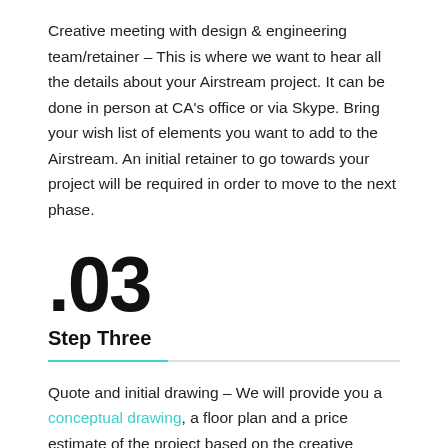Creative meeting with design & engineering team/retainer – This is where we want to hear all the details about your Airstream project. It can be done in person at CA's office or via Skype. Bring your wish list of elements you want to add to the Airstream. An initial retainer to go towards your project will be required in order to move to the next phase.
.03
Step Three
Quote and initial drawing – We will provide you a conceptual drawing, a floor plan and a price estimate of the project based on the creative meeting.